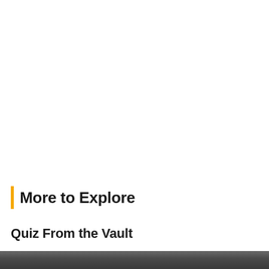More to Explore
Quiz From the Vault
[Figure (photo): Dark grayscale photograph strip at the bottom of the page, partially visible]